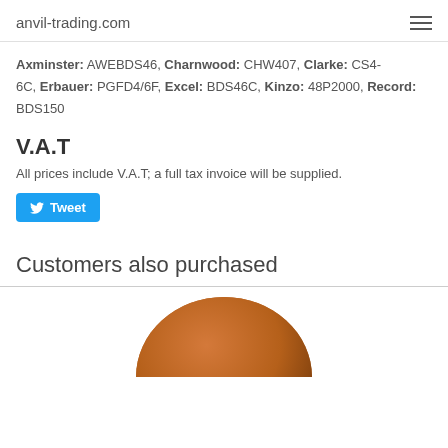anvil-trading.com
Axminster: AWEBDS46, Charnwood: CHW407, Clarke: CS4-6C, Erbauer: PGFD4/6F, Excel: BDS46C, Kinzo: 48P2000, Record: BDS150
V.A.T
All prices include V.A.T; a full tax invoice will be supplied.
Customers also purchased
[Figure (photo): Partial view of a round brown sanding disc product]